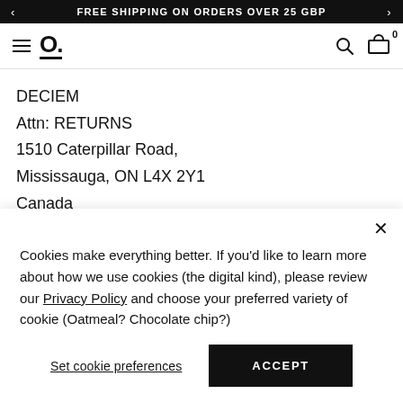FREE SHIPPING ON ORDERS OVER 25 GBP
DECIEM
Attn: RETURNS
1510 Caterpillar Road,
Mississauga, ON L4X 2Y1
Canada
USA:
Cookies make everything better. If you'd like to learn more about how we use cookies (the digital kind), please review our Privacy Policy and choose your preferred variety of cookie (Oatmeal? Chocolate chip?)
Set cookie preferences
ACCEPT